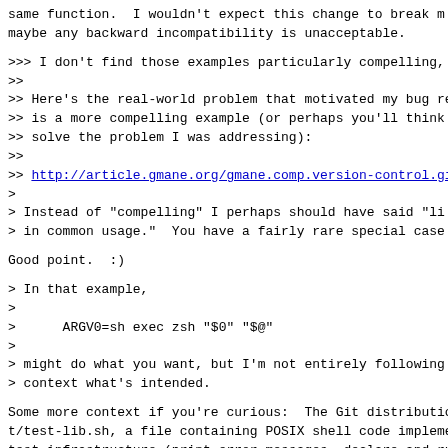same function.  I wouldn't expect this change to break m
maybe any backward incompatibility is unacceptable.
>>> I don't find those examples particularly compelling,
>>
>> Here's the real-world problem that motivated my bug r
>> is a more compelling example (or perhaps you'll think
>> solve the problem I was addressing):
>>
>> http://article.gmane.org/gmane.comp.version-control.g
>
> Instead of "compelling" I perhaps should have said "li
> in common usage."  You have a fairly rare special case
Good point.  :)
> In that example,
>
>      ARGV0=sh exec zsh "$0" "$@"
>
> might do what you want, but I'm not entirely following
> context what's intended.
Some more context if you're curious:  The Git distributio
t/test-lib.sh, a file containing POSIX shell code impleme
test infrastructure (print error messages, declare and ru
etc.).  The test scripts are POSIX shell scripts that sou
file, with two exceptions:
* t/t9903-bash-prompt.sh starts off running under /bin